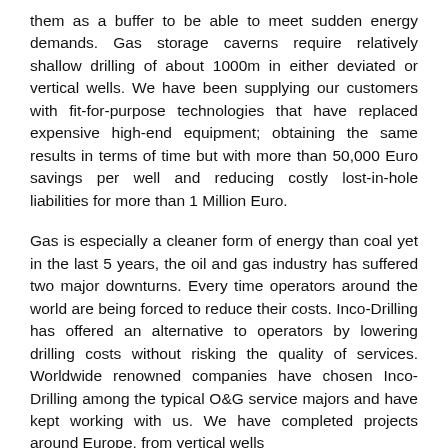them as a buffer to be able to meet sudden energy demands. Gas storage caverns require relatively shallow drilling of about 1000m in either deviated or vertical wells. We have been supplying our customers with fit-for-purpose technologies that have replaced expensive high-end equipment; obtaining the same results in terms of time but with more than 50,000 Euro savings per well and reducing costly lost-in-hole liabilities for more than 1 Million Euro.
Gas is especially a cleaner form of energy than coal yet in the last 5 years, the oil and gas industry has suffered two major downturns. Every time operators around the world are being forced to reduce their costs. Inco-Drilling has offered an alternative to operators by lowering drilling costs without risking the quality of services. Worldwide renowned companies have chosen Inco-Drilling among the typical O&G service majors and have kept working with us. We have completed projects around Europe, from vertical wells